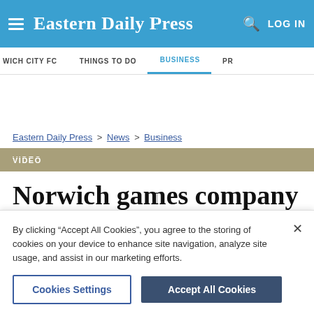Eastern Daily Press
WICH CITY FC   THINGS TO DO   BUSINESS   PR
Eastern Daily Press > News > Business
VIDEO
Norwich games company
By clicking “Accept All Cookies”, you agree to the storing of cookies on your device to enhance site navigation, analyze site usage, and assist in our marketing efforts.
Cookies Settings   Accept All Cookies